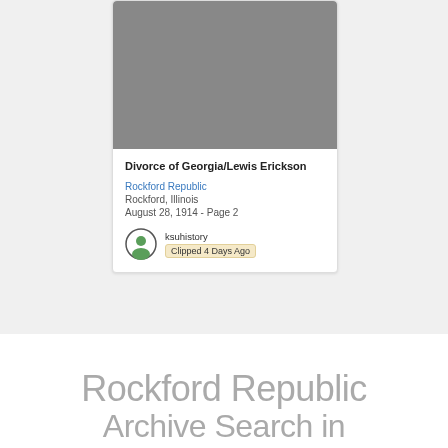[Figure (photo): Gray placeholder image at top of card]
Divorce of Georgia/Lewis Erickson
Rockford Republic
Rockford, Illinois
August 28, 1914 - Page 2
ksuhistory
Clipped 4 Days Ago
Rockford Republic
Archive Search in